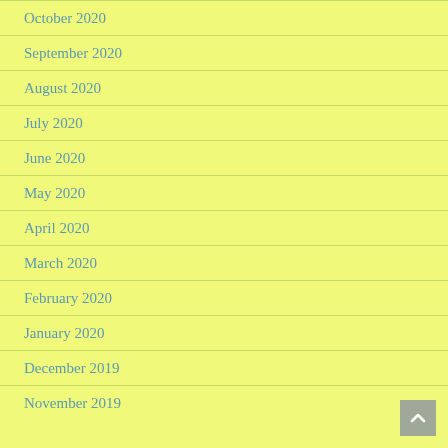October 2020
September 2020
August 2020
July 2020
June 2020
May 2020
April 2020
March 2020
February 2020
January 2020
December 2019
November 2019